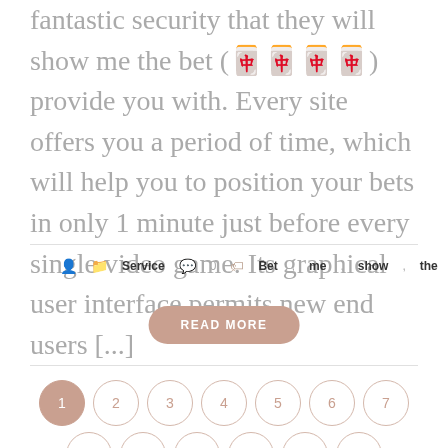fantastic security that they will show me the bet (🀄🀄🀄🀄) provide you with. Every site offers you a period of time, which will help you to position your bets in only 1 minute just before every single video game. Its graphical user interface permits new end users [...]
Service  0  Bet, me, show, the
READ MORE
1 2 3 4 5 6 7
8 9 10 11 12 13